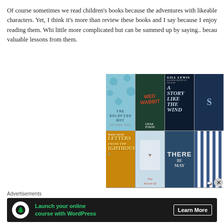Of course sometimes we read children's books because the adventures with likeable characters. Yet, I think it's more than review these books and I say because I enjoy reading them. Wh little more complicated but can be summed up by saying.. because valuable lessons from them.
[Figure (photo): A collage of children's book covers including: The Goldfish Boy, Wed Wabbit by Lissa Evans, A Story Like the Wind by Gill Lewis (illustrated by Jo Weaver), Letters from the Lighthouse by Emma Carroll, The Secret of [something], There [May] be, and other children's books arranged in a 2-row grid.]
Advertisements
[Figure (other): Advertisement banner with dark background showing a tree/person icon, text 'Launch your online course with WordPress' in green, and a 'Learn More' button.]